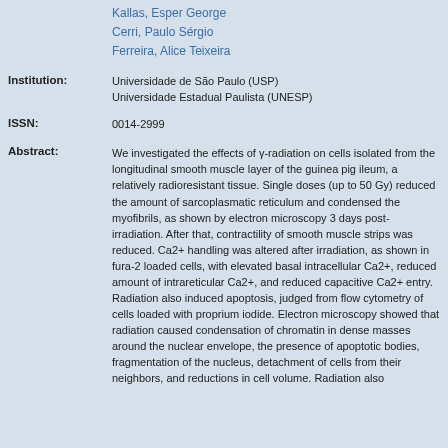Kallas, Esper George
Cerri, Paulo Sérgio
Ferreira, Alice Teixeira
Institution: Universidade de São Paulo (USP)
Universidade Estadual Paulista (UNESP)
ISSN: 0014-2999
Abstract: We investigated the effects of γ-radiation on cells isolated from the longitudinal smooth muscle layer of the guinea pig ileum, a relatively radioresistant tissue. Single doses (up to 50 Gy) reduced the amount of sarcoplasmatic reticulum and condensed the myofibrils, as shown by electron microscopy 3 days post-irradiation. After that, contractility of smooth muscle strips was reduced. Ca2+ handling was altered after irradiation, as shown in fura-2 loaded cells, with elevated basal intracellular Ca2+, reduced amount of intrareticular Ca2+, and reduced capacitive Ca2+ entry. Radiation also induced apoptosis, judged from flow cytometry of cells loaded with proprium iodide. Electron microscopy showed that radiation caused condensation of chromatin in dense masses around the nuclear envelope, the presence of apoptotic bodies, fragmentation of the nucleus, detachment of cells from their neighbors, and reductions in cell volume. Radiation also